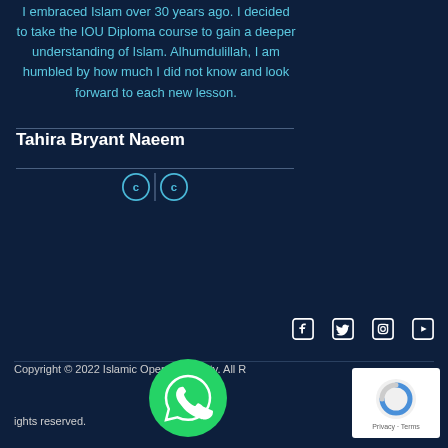I embraced Islam over 30 years ago. I decided to take the IOU Diploma course to gain a deeper understanding of Islam. Alhumdulillah, I am humbled by how much I did not know and look forward to each new lesson.
Tahira Bryant Naeem
[Figure (logo): Creative Commons license icons (CC BY)]
[Figure (logo): Social media icons: Facebook, Twitter, Instagram, YouTube]
Copyright © 2022 Islamic Open University. All Rights Reserved.
[Figure (logo): WhatsApp floating button]
[Figure (logo): Google reCAPTCHA badge showing robot icon with Privacy and Terms links]